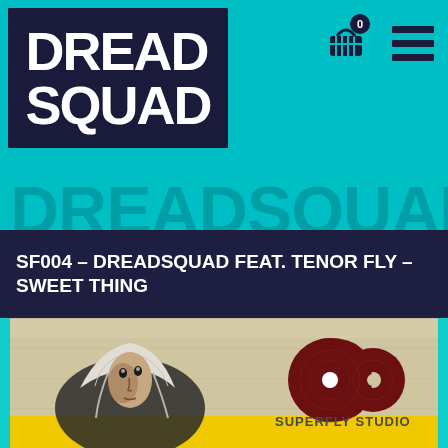[Figure (logo): DREAD SQUAD logo in white bold text on dark navy background]
[Figure (other): Shopping cart icon with badge showing 0, and hamburger menu icon on teal background]
SF004 – DREADSQUAD FEAT. TENOR FLY – SWEET THING
[Figure (photo): Album cover art showing a hooded figure looking upward in black and white, with Superfly Studio logo (vinyl record shaped logo) in the upper right, yellow band at the bottom, vintage/grunge texture background]